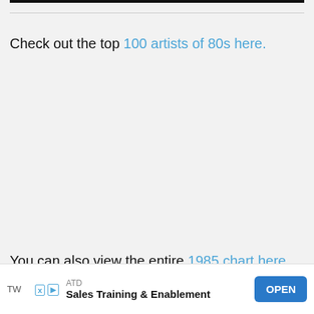Check out the top 100 artists of 80s here.
You can also view the entire 1985 chart here.
ATD Sales Training & Enablement OPEN